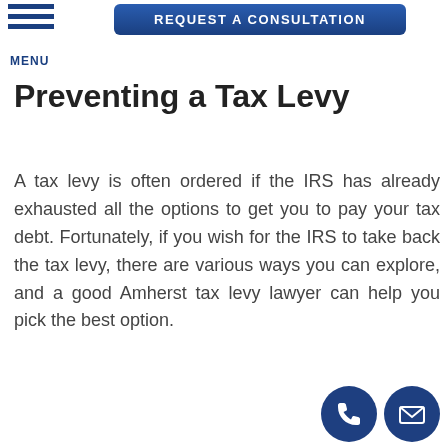[Figure (screenshot): Blue CTA button labeled REQUEST A CONSULTATION at top of page]
[Figure (infographic): Hamburger menu icon with three horizontal blue lines and MENU label]
Preventing a Tax Levy
A tax levy is often ordered if the IRS has already exhausted all the options to get you to pay your tax debt. Fortunately, if you wish for the IRS to take back the tax levy, there are various ways you can explore, and a good Amherst tax levy lawyer can help you pick the best option.
[Figure (infographic): Two circular dark blue icons at bottom right: phone icon and envelope/mail icon]